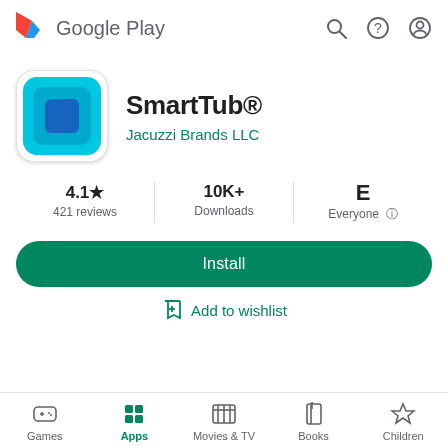[Figure (logo): Google Play header with logo, search, help, and account icons]
[Figure (illustration): SmartTub app icon: teal/cyan square with rounded corners and a darker blue square center on white background]
SmartTub®
Jacuzzi Brands LLC
4.1★ 421 reviews | 10K+ Downloads | Everyone
Install
Add to wishlist
Games | Apps | Movies & TV | Books | Children